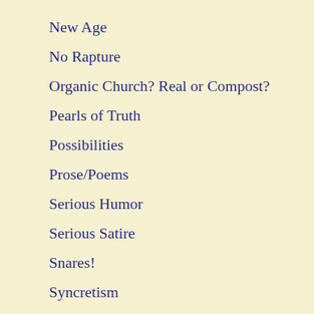New Age
No Rapture
Organic Church? Real or Compost?
Pearls of Truth
Possibilities
Prose/Poems
Serious Humor
Serious Satire
Snares!
Syncretism
Testimony